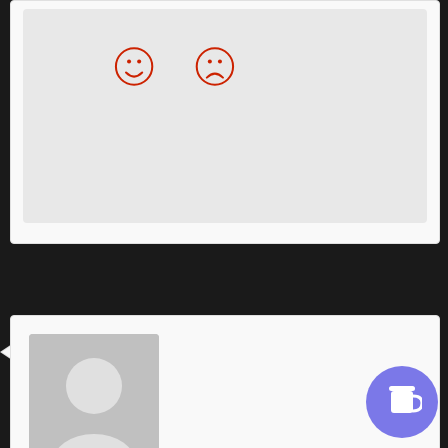[Figure (other): Rating widget area with two smiley face icons (one happy, one sad) in red outline, on a light gray background]
Chuckie on February 14, 2017 at 1:12 am said:
I wonder if we'll see a reverse in these identity politics ads in the near future or if the Left will double down on their messaging and divisiveness. I feel like the Jack Lemmon character in The Out-of-Towners as he adds a new name to his shit-list for every time he's affronted some way in New York City. No more money from me for Robert De Niro, Meryl Streep, Audi, Nike, etc. It's bizarre all these people and companies coming out to preach